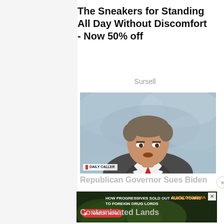The Sneakers for Standing All Day Without Discomfort - Now 50% off
Sursell
[Figure (photo): Man in grey suit with red tie speaking in front of a topographic map background, with Daily Caller logo overlay in bottom left]
Republican Governor Sues Biden
[Figure (screenshot): Ad banner: HOW PROGRESSIVES SOLD OUT RURAL TOWNS TO FOREIGN DRUG LORDS - WATCH NOW - Narcofornia]
Contaminated Lands